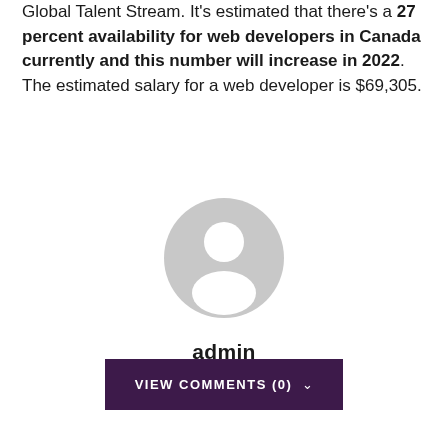Global Talent Stream. It's estimated that there's a 27 percent availability for web developers in Canada currently and this number will increase in 2022. The estimated salary for a web developer is $69,305.
[Figure (illustration): Generic user avatar icon — a grey circle with a white silhouette of a person (head and shoulders)]
admin
VIEW COMMENTS (0)